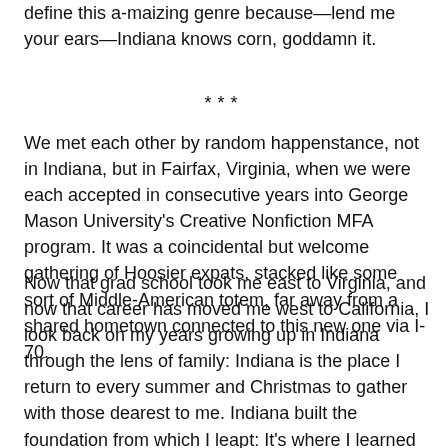define this a-maizing genre because—lend me your ears—Indiana knows corn, goddamn it.
***
We met each other by random happenstance, not in Indiana, but in Fairfax, Virginia, when we were each accepted in consecutive years into George Mason University's Creative Nonfiction MFA program. It was a coincidental but welcome gathering of Hoosier expats, stacked like some sort of Middle-American totem, far away from a shared hometown connected to this new one via I-70.
Now that grad school took me east to Virginia, and now that career has moved me west to California, I look back on my years growing up in Indiana through the lens of family: Indiana is the place I return to every summer and Christmas to gather with those dearest to me. Indiana built the foundation from which I leapt: It's where I learned to think, to ask questions, to love, to play and watch sports, to eat sweetcorn, to write. Even though home has become California, Indiana remains a home that I return to time and again.